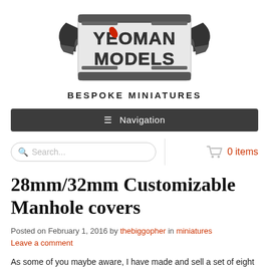[Figure (logo): Yeoman Models logo with wings and rocket, text 'YEOMAN MODELS BESPOKE MINIATURES']
≡ Navigation
Search... 0 items
28mm/32mm Customizable Manhole covers
Posted on February 1, 2016 by thebiggopher in miniatures
Leave a comment
As some of you maybe aware, I have made and sell a set of eight